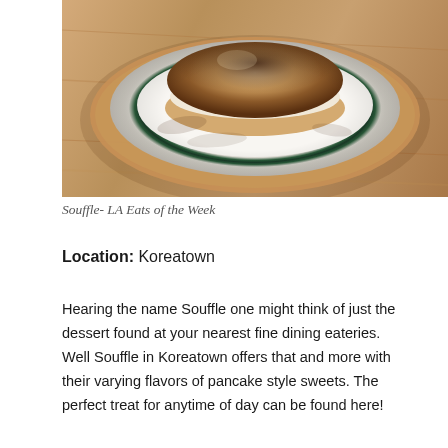[Figure (photo): Overhead view of a soufflé pancake dusted with cocoa powder, served on a white plate with green rim stripe, placed on a wooden surface.]
Souffle- LA Eats of the Week
Location: Koreatown
Hearing the name Souffle one might think of just the dessert found at your nearest fine dining eateries. Well Souffle in Koreatown offers that and more with their varying flavors of pancake style sweets. The perfect treat for anytime of day can be found here!